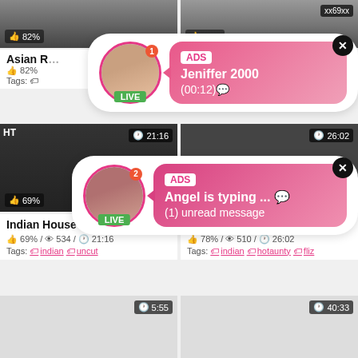[Figure (screenshot): Top-left video thumbnail with 82% like rating]
[Figure (screenshot): Top-right video thumbnail with 78% like rating and xx69xx label]
Asian R... 82% Tags:
...sical ...doc
[Figure (infographic): Ad popup 1: Jeniffer 2000 LIVE chat notification with avatar, ADS label, name, time (00:12), close button]
[Figure (screenshot): Middle-left video thumbnail with duration 21:16 and 69% like rating]
[Figure (screenshot): Middle-right video thumbnail with duration 26:02 and 78% like rating]
[Figure (infographic): Ad popup 2: Angel is typing... LIVE chat notification with avatar, ADS label, (1) unread message, close button]
Indian House Wife Leaked Sex
69% / 534 / 21:16
Tags: indian uncut
Rathi Ki Roja Telugu Hot Full
78% / 510 / 26:02
Tags: indian hotaunty fliz
[Figure (screenshot): Bottom-left video thumbnail with duration 5:55]
[Figure (screenshot): Bottom-right video thumbnail with duration 40:33]